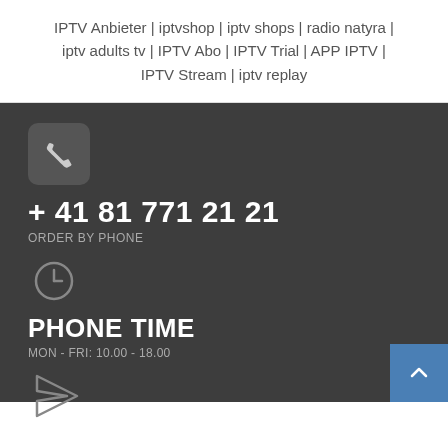IPTV Anbieter | iptvshop | iptv shops | radio natyra | iptv adults tv | IPTV Abo | IPTV Trial | APP IPTV | IPTV Stream | iptv replay
+ 41 81 771 21 21
ORDER BY PHONE
PHONE TIME
MON - FRI: 10.00 - 18.00
FREE SHIPPING
ON ORDER OVER CHF 199